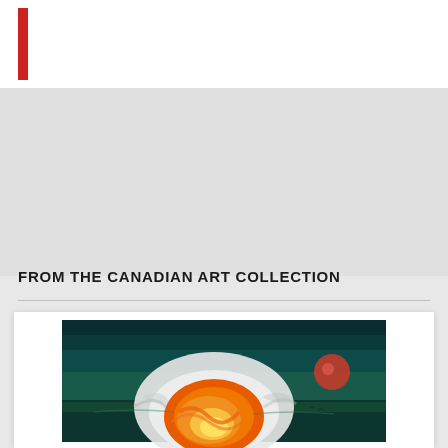FROM THE CANADIAN ART COLLECTION
[Figure (illustration): Painting showing an explosion or atomic blast with orange and yellow fireball rising above a dark teal landscape, with a reddish sphere visible in the background right, and smoke/cloud formations around the blast.]